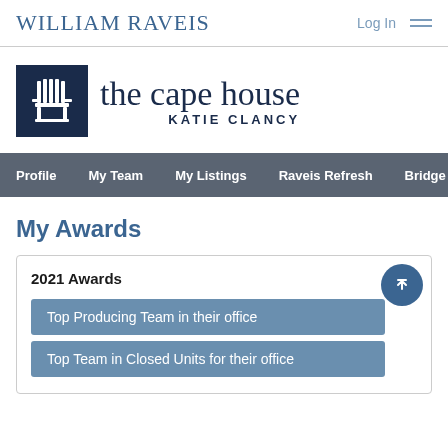William Raveis | Log In
[Figure (logo): The Cape House Katie Clancy logo with Adirondack chair icon on dark navy background]
Profile  My Team  My Listings  Raveis Refresh  Bridge Loan Servic
My Awards
2021 Awards
Top Producing Team in their office
Top Team in Closed Units for their office